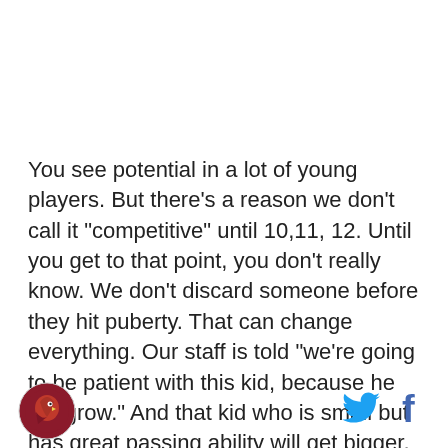You see potential in a lot of young players. But there's a reason we don't call it "competitive" until 10,11, 12. Until you get to that point, you don't really know. We don't discard someone before they hit puberty. That can change everything. Our staff is told "we're going to be patient with this kid, because he will grow." And that kid who is small but has great passing ability will get bigger, but that big guy who can muscle by people right now but can't pass the ball will get caught up at some
[Figure (logo): Atlanta Hawks circular logo with hawk head, dark red/maroon color]
[Figure (logo): Twitter bird icon in blue]
[Figure (logo): Facebook f icon in blue]